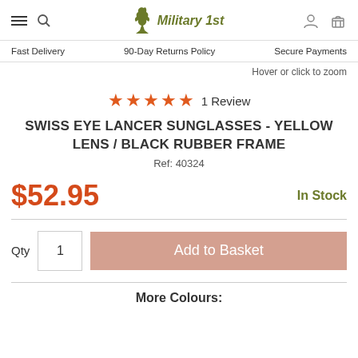Military 1st — Fast Delivery | 90-Day Returns Policy | Secure Payments
Hover or click to zoom
★★★★★ 1 Review
SWISS EYE LANCER SUNGLASSES - YELLOW LENS / BLACK RUBBER FRAME
Ref: 40324
$52.95  In Stock
Qty 1  Add to Basket
More Colours: